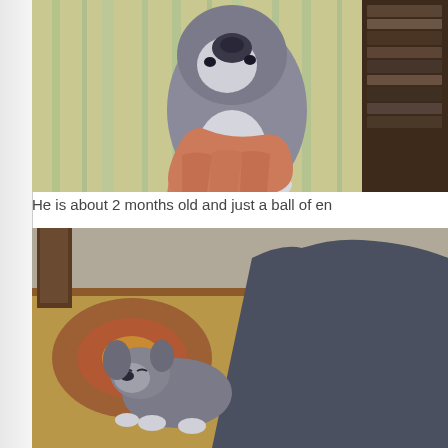[Figure (photo): A small puppy being held up by a human hand against a striped fabric background, with a bookshelf visible in the background. The puppy is gray and white.]
He is about 2 months old and just a ball of en
[Figure (photo): A small gray puppy lying on a colorful patterned rug next to a person's foot wearing a black and white Converse sneaker and dark jeans.]